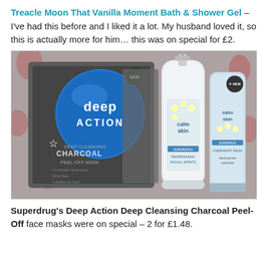Treacle Moon That Vanilla Moment Bath & Shower Gel – I've had this before and I liked it a lot. My husband loved it, so this is actually more for him… this was on special for £2.
[Figure (photo): Photo showing three beauty products on a floral patterned fabric: a Superdrug Deep Action Deep Cleansing Charcoal Peel-Off Mask packet (grey with blue circle), a Calm Skin Refreshing Facial Spritz bottle (white pump bottle with daisy design), and a Calm Skin Overnight Mask tube (pale blue with daisy design and NEW badge).]
Superdrug's Deep Action Deep Cleansing Charcoal Peel-Off face masks were on special – 2 for £1.48.